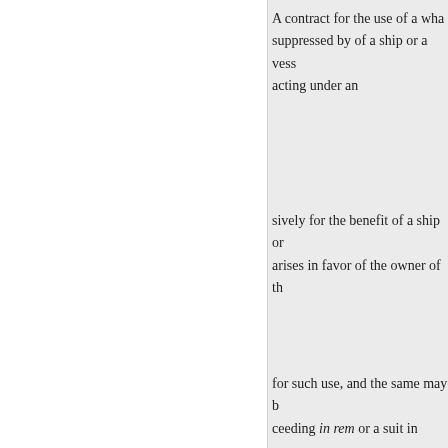A contract for the use of a wha suppressed by of a ship or a vess acting under an
sively for the benefit of a ship or arises in favor of the owner of th
for such use, and the same may b ceeding in rem or a suit in perso
its own, may be held liable for w
in fully subscribed; that the holde increased the capital nor authoriz 1868; that Judicial power, under company claim- tends to all case capital, and tion, and it was doub
present this questione in its most
« Sebelumnya